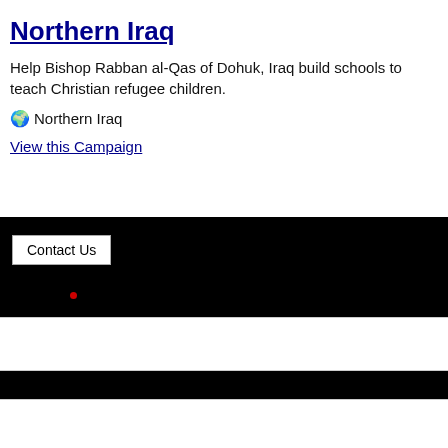Northern Iraq
Help Bishop Rabban al-Qas of Dohuk, Iraq build schools to teach Christian refugee children.
🌍 Northern Iraq
View this Campaign
[Figure (screenshot): Black banner area with a 'Contact Us' button and a small red dot, followed by alternating white and black horizontal bars at the bottom of the page.]